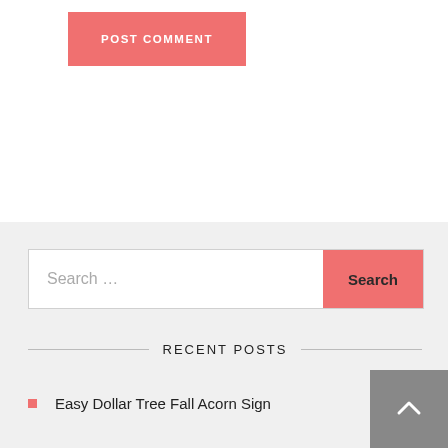[Figure (screenshot): Pink POST COMMENT button on white background]
[Figure (screenshot): Search bar with text input area showing 'Search ...' placeholder and a pink 'Search' button]
RECENT POSTS
Easy Dollar Tree Fall Acorn Sign